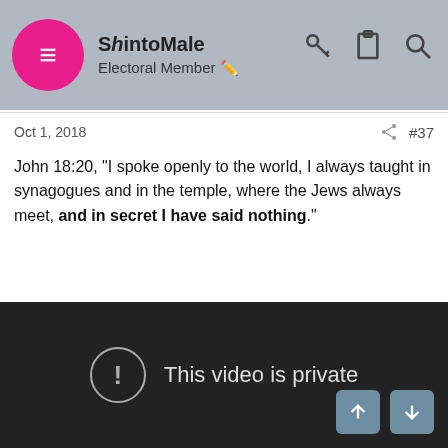ShintoMale – Electoral Member
Oct 1, 2018   #37
John 18:20, "I spoke openly to the world, I always taught in synagogues and in the temple, where the Jews always meet, and in secret I have said nothing."
[Figure (screenshot): Embedded video player showing 'This video is private' message on a dark background]